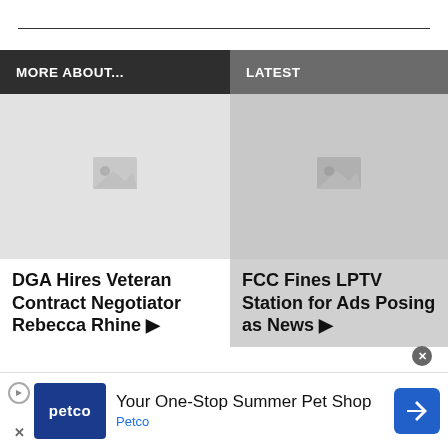MORE ABOUT...
LATEST
[Figure (photo): Placeholder image thumbnail for DGA article]
DGA Hires Veteran Contract Negotiator Rebecca Rhine ▶
[Figure (photo): Placeholder image thumbnail for FCC article]
FCC Fines LPTV Station for Ads Posing as News ▶
[Figure (infographic): Petco advertisement: Your One-Stop Summer Pet Shop]